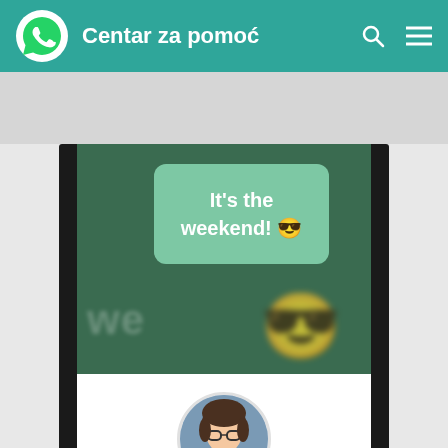Centar za pomoć
[Figure (screenshot): WhatsApp mobile app screenshot showing a story post with text 'It's the weekend! 😎' on a green background, followed by a Facebook Story sharing dialog with a profile photo, 'Your Facebook Story' title, 'Friends Only' privacy setting, and a 'SHARE NOW' button.]